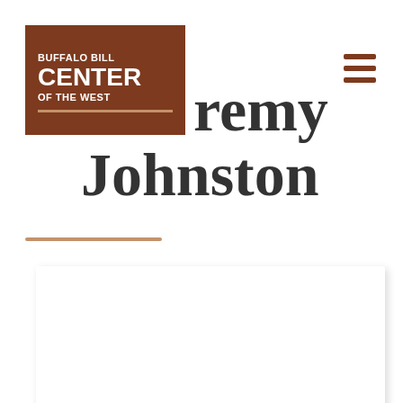[Figure (logo): Buffalo Bill Center of the West logo — brown square background with white bold text: BUFFALO BILL on top, CENTER large in middle, OF THE WEST below, with a white/tan underline bar]
Jeremy Johnston
[Figure (other): Hamburger menu icon — three horizontal brown lines stacked vertically]
[Figure (other): Decorative brown/tan horizontal rule line]
[Figure (other): White card/panel with drop shadow at the bottom of the page]